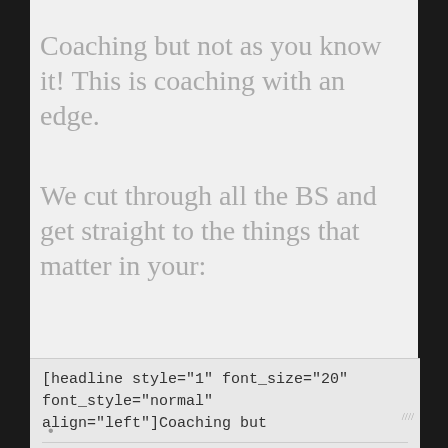Coaching but not as you know it! This is coaching with an edge.
We cut through all the BS and get straight to the things that matter in your:
[headline style="1" font_size="20" font_style="normal" align="left"]Coaching but
Edit ElementClone ElementAdvanced Element OptionsMoveRemove Element
•